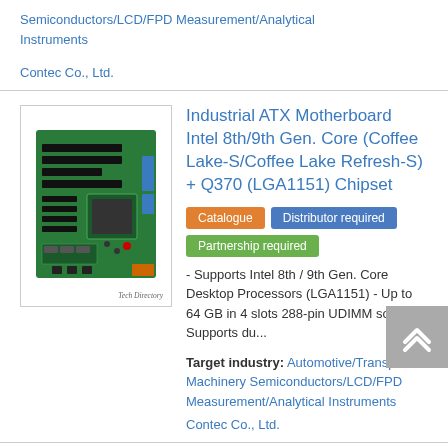Semiconductors/LCD/FPD Measurement/Analytical Instruments
Contec Co., Ltd.
[Figure (photo): Industrial ATX Motherboard photo with Tech Directory watermark]
Industrial ATX Motherboard Intel 8th/9th Gen. Core (Coffee Lake-S/Coffee Lake Refresh-S) + Q370 (LGA1151) Chipset
Catalogue | Distributor required | Partnership required
- Supports Intel 8th / 9th Gen. Core Desktop Processors (LGA1151) - Up to 64 GB in 4 slots 288-pin UDIMM sockets. Supports du...
Target industry: Automotive/Transport Machinery Semiconductors/LCD/FPD Measurement/Analytical Instruments
Contec Co., Ltd.
15" Touch Panel Computer PT-S3000HX